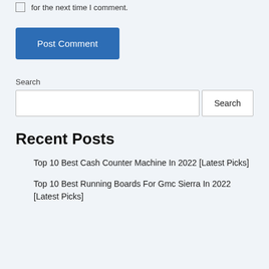for the next time I comment.
Post Comment
Search
Recent Posts
Top 10 Best Cash Counter Machine In 2022 [Latest Picks]
Top 10 Best Running Boards For Gmc Sierra In 2022 [Latest Picks]